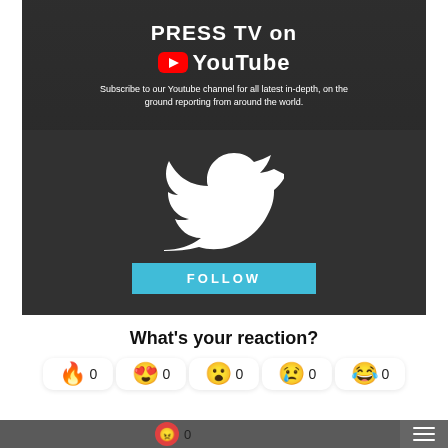[Figure (screenshot): Press TV on YouTube promotional banner with text 'PRESS TV on YouTube' and 'Subscribe to our Youtube channel for all latest in-depth, on the ground reporting from around the world.' over dark background with crowd imagery]
[Figure (screenshot): Twitter follow banner with white Twitter bird logo over dark background image of riot police, with a teal FOLLOW button]
What's your reaction?
[Figure (infographic): Reaction emoji row: fire emoji 0, heart-eyes emoji 0, wow emoji 0, sad emoji 0, laughing emoji 0, angry emoji 0]